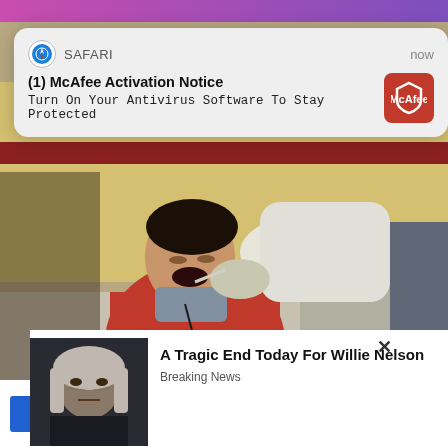[Figure (screenshot): Safari browser notification overlay showing McAfee Activation Notice: 'Turn On Your Antivirus Software To Stay Protected']
[Figure (photo): Photo of a man in red shirt getting a COVID nasal swab test at what appears to be a train station platform, administered by a healthcare worker in white PPE]
[Figure (screenshot): Popup advertisement overlay with photo of elderly man (Willie Nelson) and headline 'A Tragic End Today For Willie Nelson' with subtext 'Breaking News']
Brainb
Can N
Into